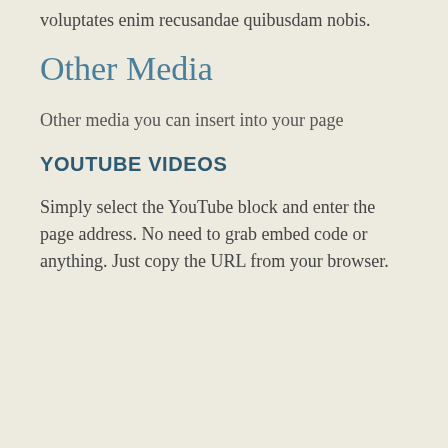voluptates enim recusandae quibusdam nobis.
Other Media
Other media you can insert into your page
YOUTUBE VIDEOS
Simply select the YouTube block and enter the page address. No need to grab embed code or anything. Just copy the URL from your browser.